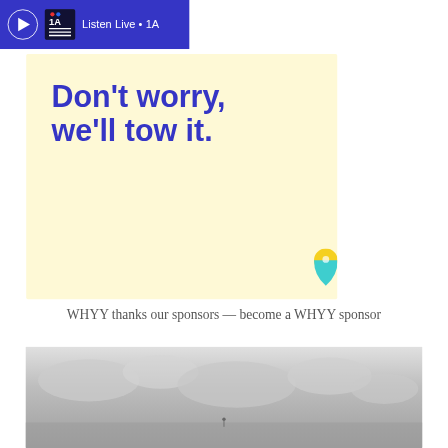Listen Live • 1A
[Figure (infographic): Advertisement with light yellow background and bold blue text reading 'Don't worry, we'll tow it.' with a small colorful map pin icon in the bottom right corner.]
WHYY thanks our sponsors — become a WHYY sponsor
[Figure (photo): Black and white photo at the bottom of the page, appears to show a cloudy sky landscape.]